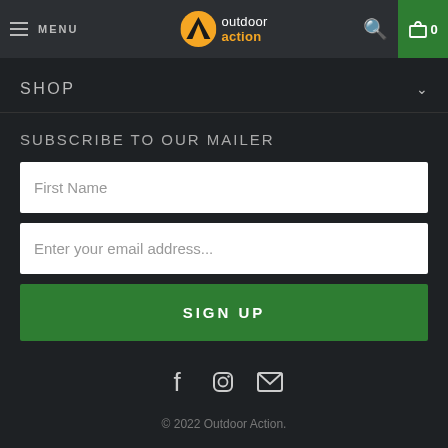MENU | outdoor action | 0
SHOP
SUBSCRIBE TO OUR MAILER
First Name
Enter your email address...
SIGN UP
[Figure (other): Social media icons: Facebook, Instagram, Email]
© 2022 Outdoor Action.